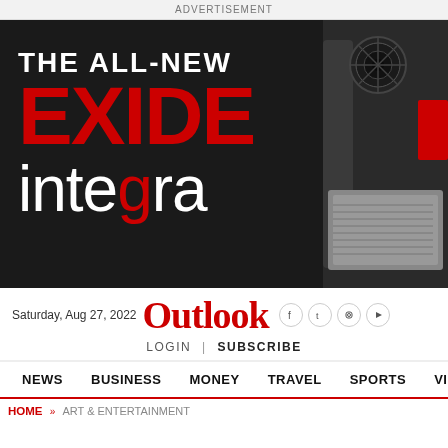ADVERTISEMENT
[Figure (illustration): Exide Integra advertisement banner on dark background. Shows 'THE ALL-NEW' in white uppercase text, 'EXIDE' in large bold red text, 'integra' in white and red mixed lettering. A product device (battery/inverter) is shown on the right side.]
Saturday, Aug 27, 2022
Outlook
LOGIN | SUBSCRIBE
NEWS  BUSINESS  MONEY  TRAVEL  SPORTS  VIDEOS
HOME » ART & ENTERTAINMENT